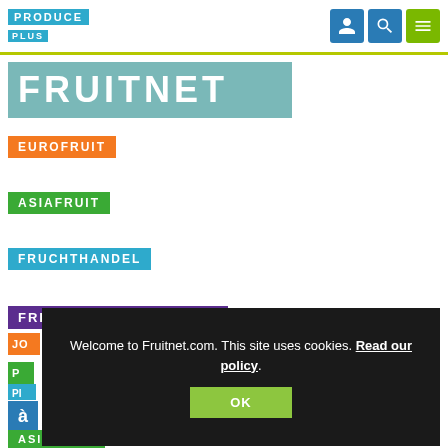PRODUCE PLUS
[Figure (logo): Fruitnet logo — teal background with white FRUITNET text]
FRUITNET
EUROFRUIT
ASIAFRUIT
FRUCHTHANDEL
FRESH PRODUCE
Welcome to Fruitnet.com. This site uses cookies. Read our policy.
ASIAFRUIT